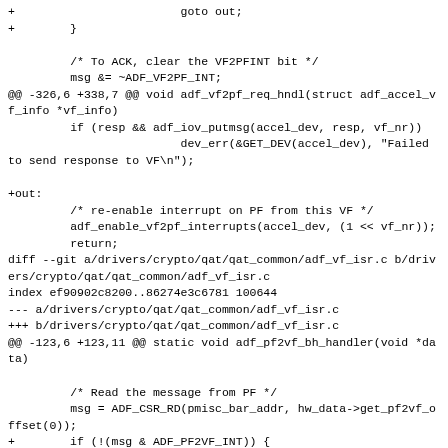+                        goto out;
+        }

         /* To ACK, clear the VF2PFINT bit */
         msg &= ~ADF_VF2PF_INT;
@@ -326,6 +338,7 @@ void adf_vf2pf_req_hndl(struct adf_accel_vf_info *vf_info)
         if (resp && adf_iov_putmsg(accel_dev, resp, vf_nr))
                         dev_err(&GET_DEV(accel_dev), "Failed to send response to VF\n");

+out:
         /* re-enable interrupt on PF from this VF */
         adf_enable_vf2pf_interrupts(accel_dev, (1 << vf_nr));
         return;
diff --git a/drivers/crypto/qat/qat_common/adf_vf_isr.c b/drivers/crypto/qat/qat_common/adf_vf_isr.c
index ef90902c8200..86274e3c6781 100644
--- a/drivers/crypto/qat/qat_common/adf_vf_isr.c
+++ b/drivers/crypto/qat/qat_common/adf_vf_isr.c
@@ -123,6 +123,11 @@ static void adf_pf2vf_bh_handler(void *data)

         /* Read the message from PF */
         msg = ADF_CSR_RD(pmisc_bar_addr, hw_data->get_pf2vf_offset(0));
+        if (!(msg & ADF_PF2VF_INT)) {
+                dev_info(&GET_DEV(accel_dev),